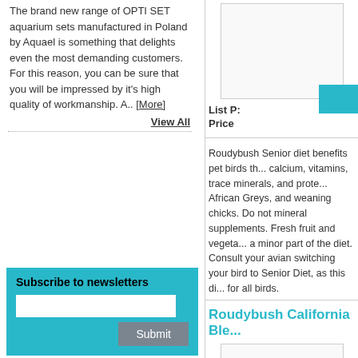The brand new range of OPTI SET aquarium sets manufactured in Poland by Aquael is something that delights even the most demanding customers. For this reason, you can be sure that you will be impressed by it's high quality of workmanship. A.. [More]
View All
Subscribe to newsletters
[Figure (other): Product image box (top right)]
List P:
Price
Roudybush Senior diet benefits pet birds th... calcium, vitamins, trace minerals, and prote... African Greys, and weaning chicks. Do not mineral supplements. Fresh fruit and vegeta... a minor part of the diet. Consult your avian switching your bird to Senior Diet, as this di... for all birds.
Roudybush California Ble...
[Figure (other): Product image box (bottom right)]
List P:
Price
BACK TO TOP